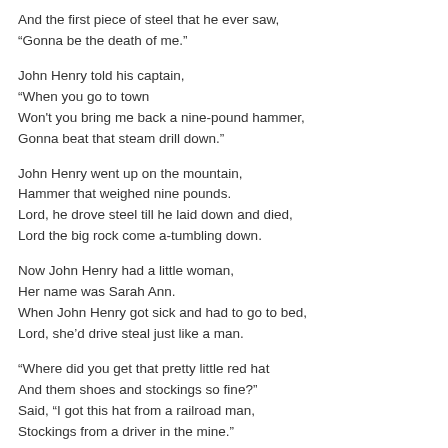And the first piece of steel that he ever saw,
“Gonna be the death of me.”
John Henry told his captain,
“When you go to town
Won't you bring me back a nine-pound hammer,
Gonna beat that steam drill down.”
John Henry went up on the mountain,
Hammer that weighed nine pounds.
Lord, he drove steel till he laid down and died,
Lord the big rock come a-tumbling down.
Now John Henry had a little woman,
Her name was Sarah Ann.
When John Henry got sick and had to go to bed,
Lord, she’d drive steal just like a man.
“Where did you get that pretty little red hat
And them shoes and stockings so fine?”
Said, “I got this hat from a railroad man,
Stockings from a driver in the mine.”
John Henry was on the right hand side
And the steam drill was on the left.
“Before I let this steam drill beat me down
Gonna hammer my poor self to death.”